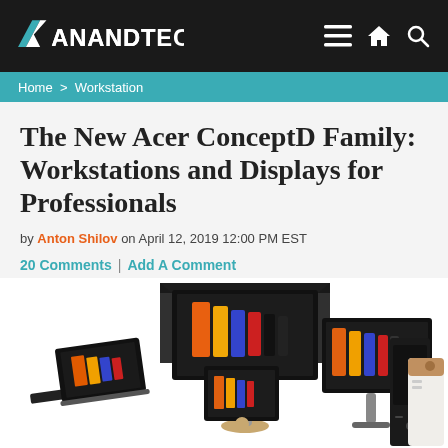AnandTech
Home > Workstation
The New Acer ConceptD Family: Workstations and Displays for Professionals
by Anton Shilov on April 12, 2019 12:00 PM EST
20 Comments | Add A Comment
[Figure (photo): Group photo of Acer ConceptD family products including monitors with hoods, laptops, a small desktop, and a tower workstation, all displaying colorful abstract artwork on white backgrounds]